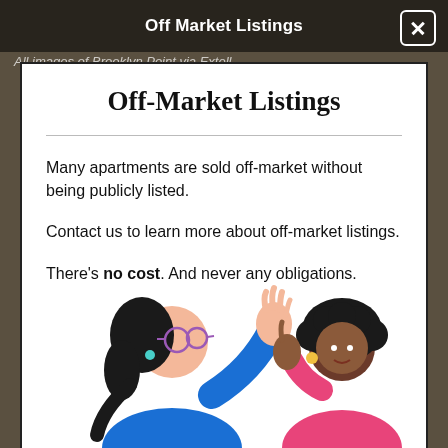Off Market Listings
All images of Brooklyn Point via Extell
Off-Market Listings
Many apartments are sold off-market without being publicly listed.
Contact us to learn more about off-market listings.
There's no cost. And never any obligations.
[Figure (illustration): Two illustrated women talking — one with a ponytail in a blue sweater gesturing, another with curly hair in a pink top pointing upward.]